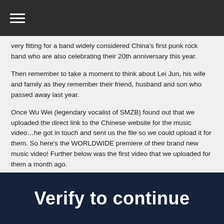≡
very fitting for a band widely considered China’s first punk rock band who are also celebrating their 20th anniversary this year.
Then remember to take a moment to think about Lei Jun, his wife and family as they remember their friend, husband and son who passed away last year.
Once Wu Wei (legendary vocalist of SMZB) found out that we uploaded the direct link to the Chinese website for the music video…he got in touch and sent us the file so we could upload it for them. So here’s the WORLDWIDE premiere of their brand new music video! Further below was the first video that we uploaded for them a month ago.
SPREAD THE WORD!
[Figure (other): Dark navy banner with large bold white text reading 'Verify to continue']